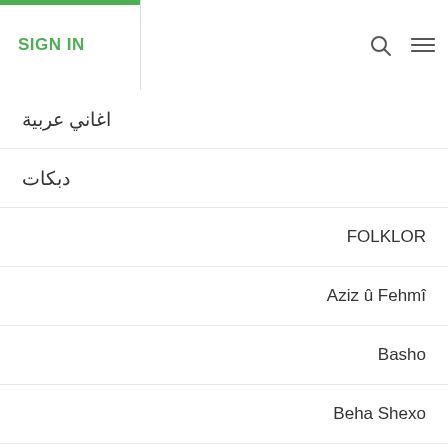SIGN IN
اغاني عربية
دبكات
FOLKLOR
Aziz û Fehmî
Basho
Beha Shexo
Bengîn
Bilind Îbrahîm